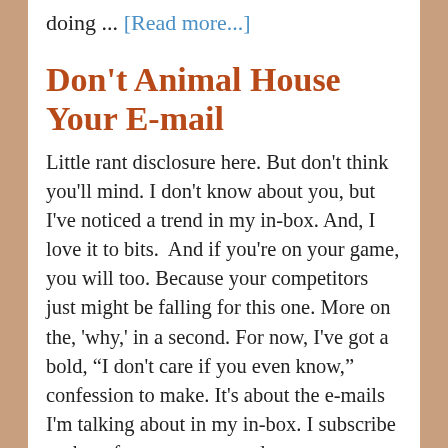doing ... [Read more...]
Don't Animal House Your E-mail
Little rant disclosure here. But don't think you'll mind. I don't know about you, but I've noticed a trend in my in-box. And, I love it to bits.  And if you're on your game, you will too. Because your competitors just might be falling for this one. More on the, 'why,' in a second. For now, I've got a bold, “I don't care if you even know,” confession to make. It's about the e-mails I'm talking about in my in-box. I subscribe to them for one reason and